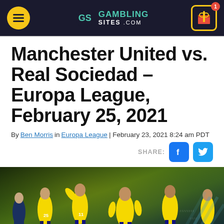GambingSites.com navigation header
Manchester United vs. Real Sociedad – Europa League, February 25, 2021
By Ben Morris in Europa League | February 23, 2021 8:24 am PDT
[Figure (photo): Soccer players in yellow Villarreal jerseys celebrating on a football pitch]